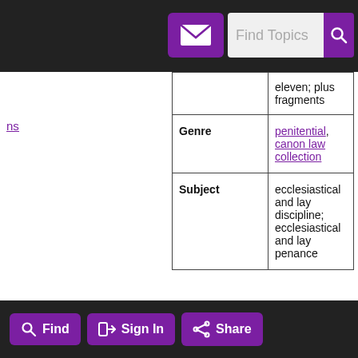[Figure (screenshot): Top navigation bar with mail icon button, Find Topics search box, and search button]
|  | eleven; plus fragments |
| Genre | penitential, canon law collection |
| Subject | ecclesiastical and lay discipline; ecclesiastical and lay penance |
ns
[Figure (screenshot): Bottom navigation bar with Find, Sign In, and Share buttons in purple]